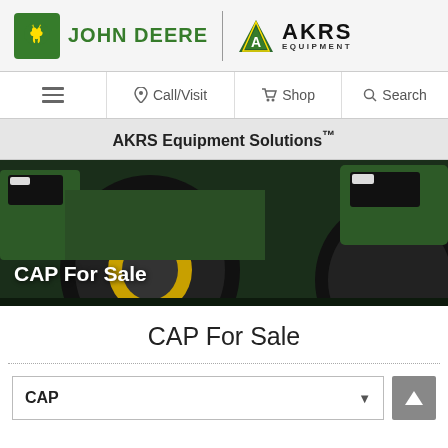[Figure (logo): John Deere logo with leaping deer icon and green JOHN DEERE text, separated by a vertical divider from AKRS Equipment logo with yellow/green triangle icon]
Call/Visit | Shop | Search
AKRS Equipment Solutions™
[Figure (photo): Close-up of a green John Deere tractor with large black tires and yellow wheel rims]
CAP For Sale
CAP For Sale
CAP ▼